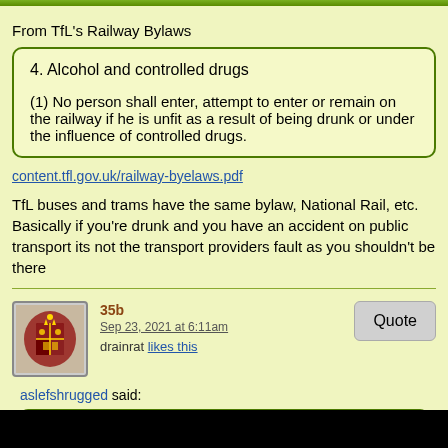From TfL's Railway Bylaws
4. Alcohol and controlled drugs
(1) No person shall enter, attempt to enter or remain on the railway if he is unfit as a result of being drunk or under the influence of controlled drugs.
content.tfl.gov.uk/railway-byelaws.pdf
TfL buses and trams have the same bylaw, National Rail, etc.  Basically if you're drunk and you have an accident on public transport its not the transport providers fault as you shouldn't be there
35b
Sep 23, 2021 at 6:11am
drainrat likes this
aslefshrugged said:
quex said:
I think it would be appropriate for reference purposes to